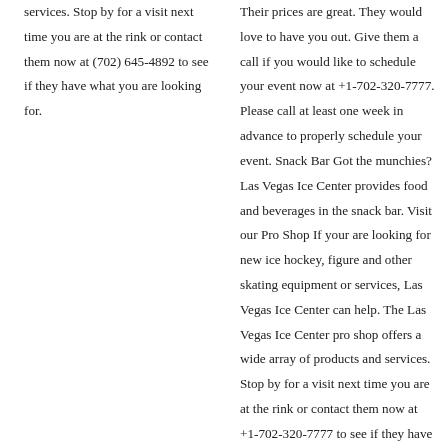services. Stop by for a visit next time you are at the rink or contact them now at (702) 645-4892 to see if they have what you are looking for.
Their prices are great. They would love to have you out. Give them a call if you would like to schedule your event now at +1-702-320-7777. Please call at least one week in advance to properly schedule your event. Snack Bar Got the munchies? Las Vegas Ice Center provides food and beverages in the snack bar. Visit our Pro Shop If your are looking for new ice hockey, figure and other skating equipment or services, Las Vegas Ice Center can help. The Las Vegas Ice Center pro shop offers a wide array of products and services. Stop by for a visit next time you are at the rink or contact them now at +1-702-320-7777 to see if they have what you are looking for.